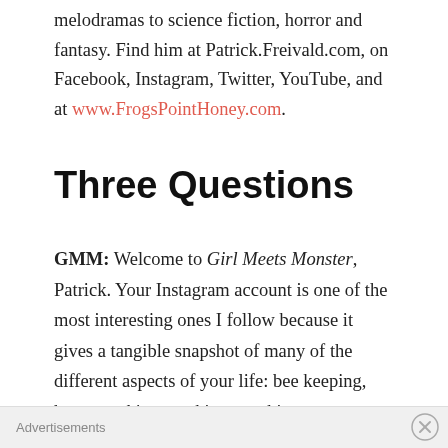melodramas to science fiction, horror and fantasy. Find him at Patrick.Freivald.com, on Facebook, Instagram, Twitter, YouTube, and at www.FrogsPointHoney.com.
Three Questions
GMM: Welcome to Girl Meets Monster, Patrick. Your Instagram account is one of the most interesting ones I follow because it gives a tangible snapshot of many of the different aspects of your life: bee keeping, honey making, cooking, teaching, your pets, your wife, and occasionally promotions for your writing. Has social media helped with the promotion of your books? Your honey business? Were you using social media as frequently as you do now before the pandemic? Do you
Advertisements